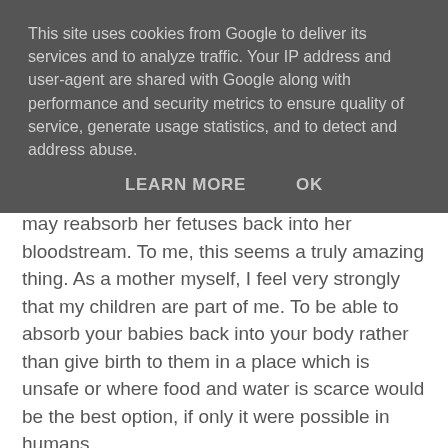This site uses cookies from Google to deliver its services and to analyze traffic. Your IP address and user-agent are shared with Google along with performance and security metrics to ensure quality of service, generate usage statistics, and to detect and address abuse.
LEARN MORE   OK
may reabsorb her fetuses back into her bloodstream. To me, this seems a truly amazing thing. As a mother myself, I feel very strongly that my children are part of me. To be able to absorb your babies back into your body rather than give birth to them in a place which is unsafe or where food and water is scarce would be the best option, if only it were possible in humans.
So in that sense, isn't abortion the most maternal, selfless, protective act a mother can do? It is saying that "the world is not right for you right now". Or maybe, "I cannot give you what you deserve". Prioritising the needs of the family you already have and, just as importantly, your own needs, rather than accepting your unintended biological fate.